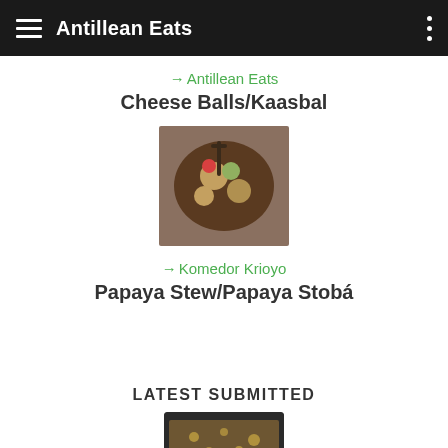Antillean Eats
→ Antillean Eats
Cheese Balls/Kaasbal
[Figure (photo): A bowl of papaya stew with meat and vegetables in a dark pot]
→ Komedor Krioyo
Papaya Stew/Papaya Stobá
LATEST SUBMITTED
[Figure (photo): A skillet with a rice or grain dish, partially visible at the bottom of the page]